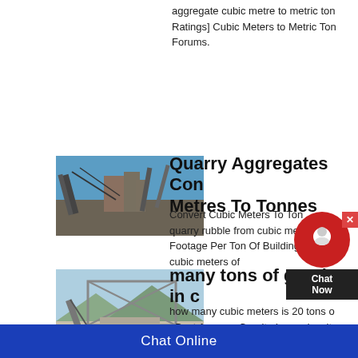aggregate cubic metre to metric ton Ratings] Cubic Meters to Metric Ton Forums.
[Figure (photo): Industrial quarry aggregate facility with conveyor belts and steel structures against blue sky]
Quarry Aggregates Con Metres To Tonnes
Convert Cubic Meters To Ton quarry rubble from cubic metr Footage Per Ton Of Building cubic meters of
[Figure (photo): Outdoor quarry or aggregate processing plant with large structural framework and machinery]
many tons of granite in c
how many cubic meters is 20 tons o · Best Answer: Granitehas a density plus or minus 160 kg per cubicmete
Chat Online